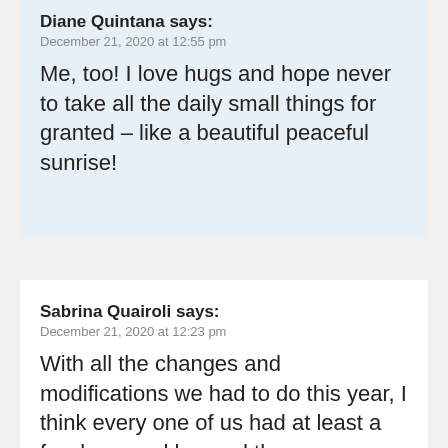Diane Quintana says:
December 21, 2020 at 12:55 pm
Me, too! I love hugs and hope never to take all the daily small things for granted – like a beautiful peaceful sunrise!
Sabrina Quairoli says:
December 21, 2020 at 12:23 pm
With all the changes and modifications we had to do this year, I think every one of us had at least a few lessoned learned they can pinpoint...